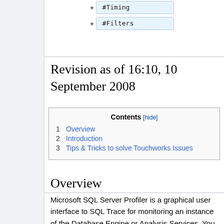[Figure (screenshot): Two tag buttons: #Timing and #Filters with plus icons, styled as light blue rounded boxes]
Revision as of 16:10, 10 September 2008
| Contents [hide] |
| --- |
| 1  Overview |
| 2  Introduction |
| 3  Tips & Tricks to solve Touchworks Issues |
Overview
Microsoft SQL Server Profiler is a graphical user interface to SQL Trace for monitoring an instance of the Database Engine or Analysis Services. You can